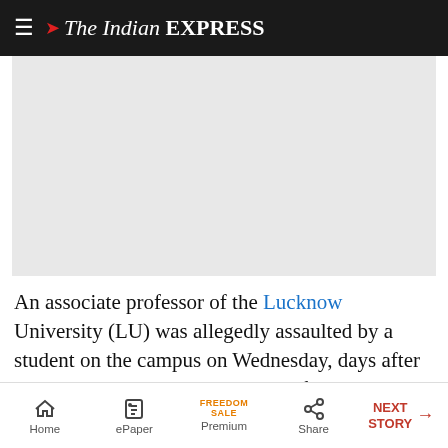The Indian EXPRESS
[Figure (other): Advertisement or image placeholder area (light grey rectangle)]
An associate professor of the Lucknow University (LU) was allegedly assaulted by a student on the campus on Wednesday, days after an FIR was lodged against the professor, Ravi Kant, for his remarks on the Kashi Vishwanath temple.
Home | ePaper | Premium | Share | NEXT STORY